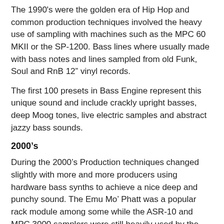The 1990's were the golden era of Hip Hop and common production techniques involved the heavy use of sampling with machines such as the MPC 60 MKII or the SP-1200. Bass lines where usually made with bass notes and lines sampled from old Funk, Soul and RnB 12″ vinyl records.
The first 100 presets in Bass Engine represent this unique sound and include crackly upright basses, deep Moog tones, live electric samples and abstract jazzy bass sounds.
2000's
During the 2000's Production techniques changed slightly with more and more producers using hardware bass synths to achieve a nice deep and punchy sound. The Emu Mo' Phatt was a popular rack module among some while the ASR-10 and MPC 3000 samplers were still heavily used by the traditional crate-diggers.
The second 100 presets in Bass Engine represent this smoother sound so you will discover deep dirty basses, solid sub's, fat Triton patches and clean vinyl cuts.